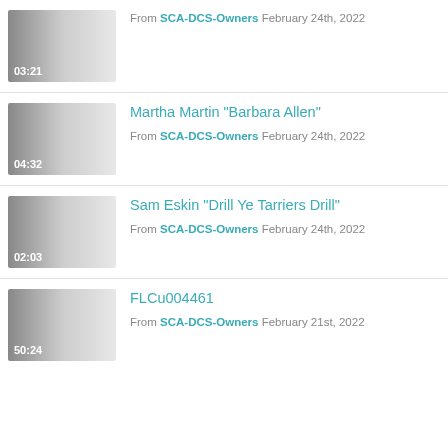[Figure (other): Video thumbnail with duration 03:21]
From SCA-DCS-Owners February 24th, 2022
[Figure (other): Video thumbnail with duration 04:32]
Martha Martin "Barbara Allen"
From SCA-DCS-Owners February 24th, 2022
[Figure (other): Video thumbnail with duration 02:03]
Sam Eskin "Drill Ye Tarriers Drill"
From SCA-DCS-Owners February 24th, 2022
[Figure (other): Video thumbnail with duration 50:24]
FLCu004461
From SCA-DCS-Owners February 21st, 2022